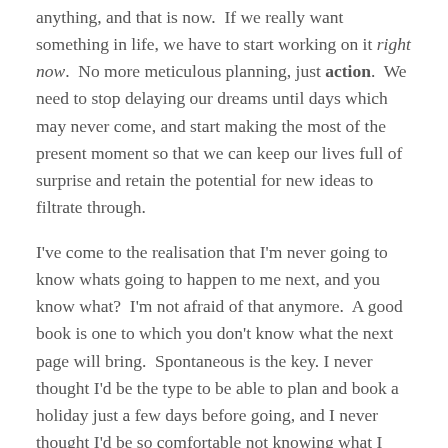anything, and that is now.  If we really want something in life, we have to start working on it right now.  No more meticulous planning, just action.  We need to stop delaying our dreams until days which may never come, and start making the most of the present moment so that we can keep our lives full of surprise and retain the potential for new ideas to filtrate through.
I've come to the realisation that I'm never going to know whats going to happen to me next, and you know what? I'm not afraid of that anymore.  A good book is one to which you don't know what the next page will bring.  Spontaneous is the key. I never thought I'd be the type to be able to plan and book a holiday just a few days before going, and I never thought I'd be so comfortable not knowing what I should do next in life but...